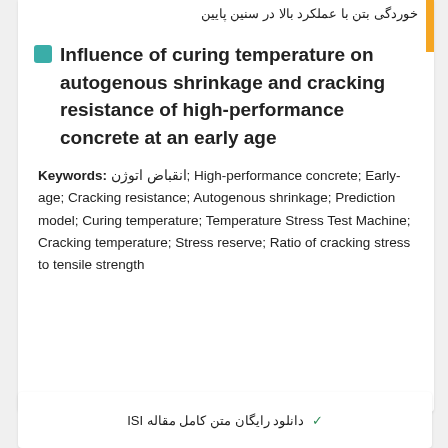خوردگی بتن با عملکرد بالا در سنین پایین
Influence of curing temperature on autogenous shrinkage and cracking resistance of high-performance concrete at an early age
Keywords: انقباض اتوژن; High-performance concrete; Early-age; Cracking resistance; Autogenous shrinkage; Prediction model; Curing temperature; Temperature Stress Test Machine; Cracking temperature; Stress reserve; Ratio of cracking stress to tensile strength
✓ دانلود رایگان متن کامل مقاله ISI